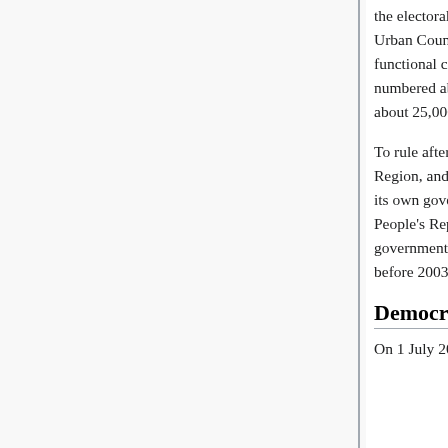the electoral college, comprising members of the District Boards, the Urban Council and the Provisional Regional Council, and the functional constituencies.[ 10] Qualified voters therefore only numbered about 70,000 and those who actually voted amounted to about 25,000.
To rule after 1997 China created its first Special Administration Region, and as a result, Hong Kong became largely autonomous with its own government and laws, distinct from that of the rest of the People's Republic. All final decisions, however, were made by the government of China, but the influence was light-handed and "soft" before 2003.[16]
Democratic issues
On 1 July 2003, over half a million Hong...